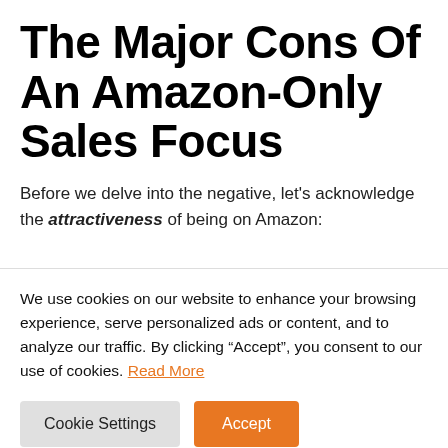The Major Cons Of An Amazon-Only Sales Focus
Before we delve into the negative, let's acknowledge the attractiveness of being on Amazon:
We use cookies on our website to enhance your browsing experience, serve personalized ads or content, and to analyze our traffic. By clicking “Accept”, you consent to our use of cookies. Read More
Cookie Settings | Accept